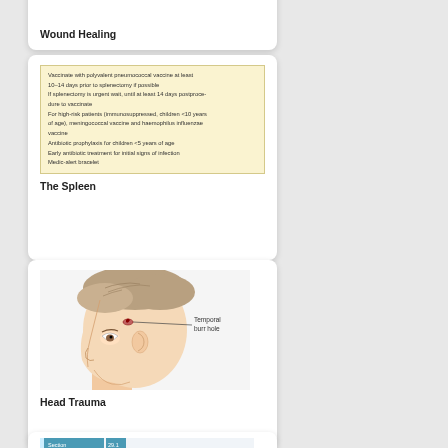Wound Healing
[Figure (illustration): Yellow information box about spleen vaccination and antibiotic recommendations after splenectomy]
The Spleen
[Figure (illustration): Medical illustration of a human head in profile showing a temporal burr hole marked with a label and callout line]
Head Trauma
[Figure (screenshot): Partial screenshot of a table or chart at bottom of page]